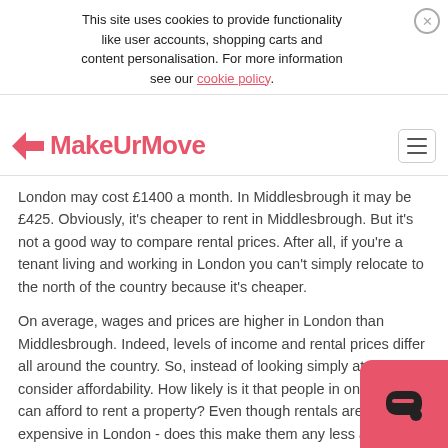This site uses cookies to provide functionality like user accounts, shopping carts and content personalisation. For more information see our cookie policy.
[Figure (logo): MakeUrMove logo with pink arrow icon and text]
London may cost £1400 a month. In Middlesbrough it may be £425. Obviously, it's cheaper to rent in Middlesbrough. But it's not a good way to compare rental prices. After all, if you're a tenant living and working in London you can't simply relocate to the north of the country because it's cheaper.
On average, wages and prices are higher in London than Middlesbrough. Indeed, levels of income and rental prices differ all around the country. So, instead of looking simply at price let's consider affordability. How likely is it that people in one location can afford to rent a property? Even though rentals are more expensive in London - does this make them any less affordable to the average tenant?